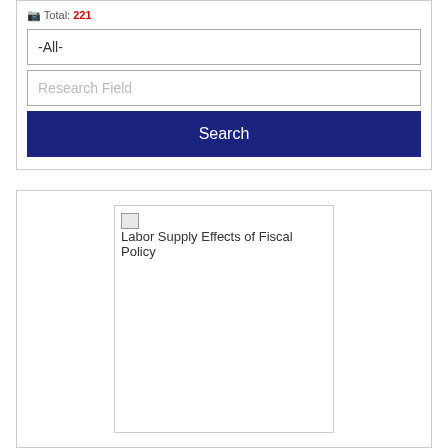Total: 221
-All-
Research Field
Search
[Figure (screenshot): Broken image placeholder for 'Labor Supply Effects of Fiscal Policy' with a small broken image icon and alt text displayed inside a white bordered box]